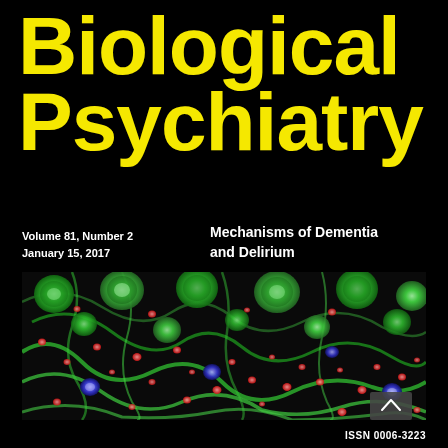Biological Psychiatry
Volume 81, Number 2
January 15, 2017
Mechanisms of Dementia and Delirium
[Figure (photo): Fluorescence microscopy image showing cells with green cytoskeletal structures, red puncta, and blue nuclei against a dark background — cover image for Biological Psychiatry journal issue on Mechanisms of Dementia and Delirium]
ISSN 0006-3223